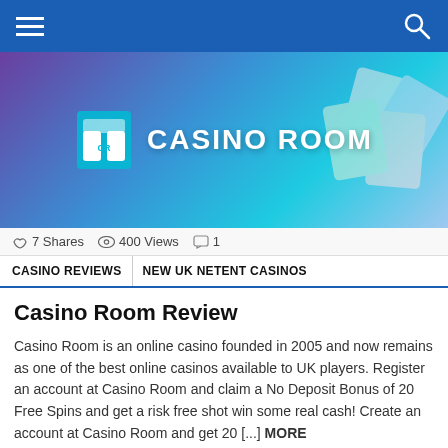Navigation bar with hamburger menu and search icon
[Figure (screenshot): Casino Room promotional banner with casino-themed background (playing cards, purple/blue lighting), Casino Room logo icon and text in white]
7 Shares  400 Views  1
CASINO REVIEWS  NEW UK NETENT CASINOS
Casino Room Review
Casino Room is an online casino founded in 2005 and now remains as one of the best online casinos available to UK players. Register an account at Casino Room and claim a No Deposit Bonus of 20 Free Spins and get a risk free shot win some real cash! Create an account at Casino Room and get 20 [...] MORE
20 No Deposit Free Spins
18+ Only. Terms apply. See site for details
[Figure (logo): TrustedSite Certified Secure badge]